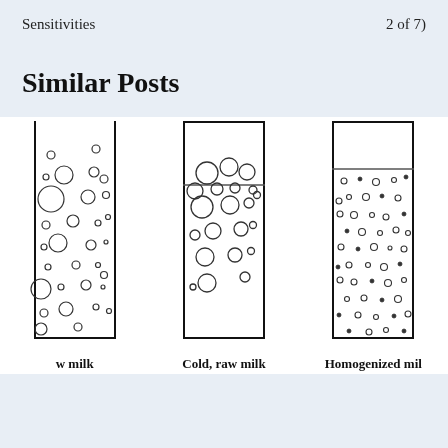Sensitivities    2 of 7)
Similar Posts
[Figure (illustration): Three test tube diagrams showing milk fat globule distribution: first tube (raw milk) with large and small circles scattered, second tube (Cold, raw milk) with large circles clustered near top, third tube (Homogenized milk) with uniformly small circles throughout.]
w milk    Cold, raw milk    Homogenized mil